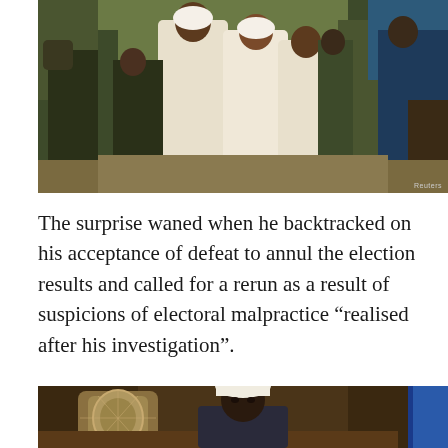[Figure (photo): People in white robes surrounded by soldiers in military camouflage uniforms outdoors. A Reuters watermark is visible in the bottom right corner.]
The surprise waned when he backtracked on his acceptance of defeat to annul the election results and called for a rerun as a result of suspicions of electoral malpractice “realised after his investigation”.
[Figure (photo): A man in a white hat sitting at a desk in an official setting, with a decorative object to the left and a blue flag to the right.]